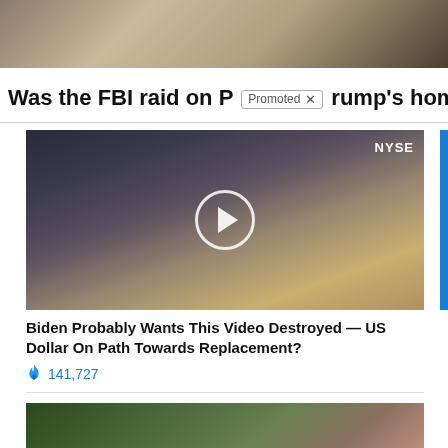[Figure (photo): Partial top image showing an ornate gold and brown interior scene, cropped at top of page]
Was the FBI raid on [P]rump's home
[Figure (screenshot): Promoted badge overlay with 'Promoted x' label]
[Figure (photo): Video thumbnail showing two people at a table with NYSE sign in background, with play button overlay]
Biden Probably Wants This Video Destroyed — US Dollar On Path Towards Replacement?
🔥 141,727
[Figure (photo): Video thumbnail showing two people outdoors, one pointing, with play button overlay]
Everyone Who Believes In God Should Watch This. It Will Blow Your Mind
🔥 710,350